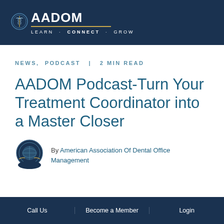AADOM LEARN · CONNECT · GROW
NEWS, PODCAST | 2 MIN READ
AADOM Podcast-Turn Your Treatment Coordinator into a Master Closer
By American Association Of Dental Office Management
Call Us | Become a Member | Login